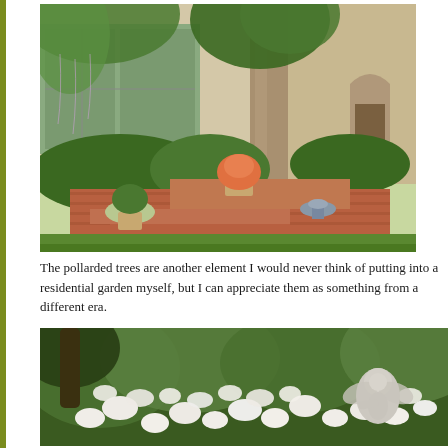[Figure (photo): Outdoor garden scene with pollarded trees, a brick raised patio/steps, potted flowers with orange geraniums, a sundial or birdbath sculpture, lush green lawn, and a modern house facade with large windows in the background.]
The pollarded trees are another element I would never think of putting into a residential garden myself, but I can appreciate them as something from a different era.
[Figure (photo): Dense garden scene with abundant white roses or similar white flowers, lush green foliage and trees, and a stone cherub/angel statue visible on the right side among the blooms.]